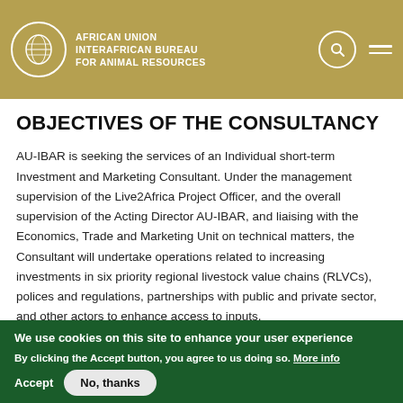AFRICAN UNION INTERAFRICAN BUREAU FOR ANIMAL RESOURCES
OBJECTIVES OF THE CONSULTANCY
AU-IBAR is seeking the services of an Individual short-term Investment and Marketing Consultant. Under the management supervision of the Live2Africa Project Officer, and the overall supervision of the Acting Director AU-IBAR, and liaising with the Economics, Trade and Marketing Unit on technical matters, the Consultant will undertake operations related to increasing investments in six priority regional livestock value chains (RLVCs), polices and regulations, partnerships with public and private sector, and other actors to enhance access to inputs,
We use cookies on this site to enhance your user experience
By clicking the Accept button, you agree to us doing so. More info
Accept
No, thanks